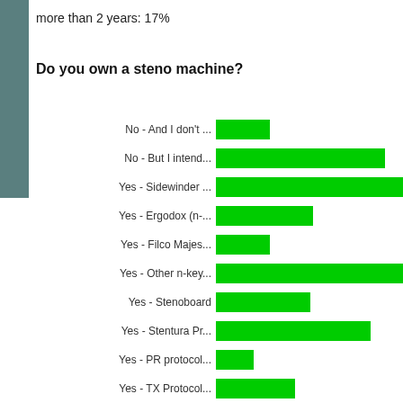more than 2 years: 17%
Do you own a steno machine?
[Figure (bar-chart): Do you own a steno machine?]